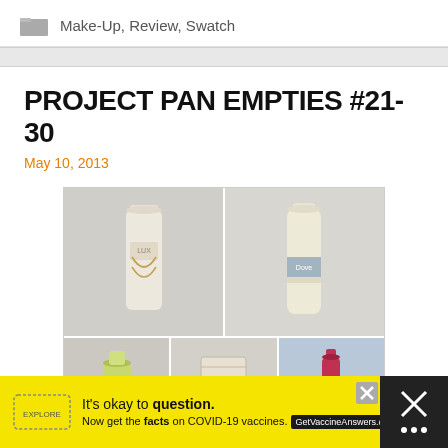Make-Up, Review, Swatch
PROJECT PAN EMPTIES #21-30
May 10, 2013
[Figure (photo): Photo collage of beauty product empties: two shampoo/conditioner bottles (LUX and Dove) in top row; three smaller products (green tube, packet, red bottle) in bottom row]
[Figure (infographic): Yellow COVID-19 vaccine advertisement banner: 'It's okay to question. Now get the facts on COVID-19 vaccines. GetVaccineAnswers.org']